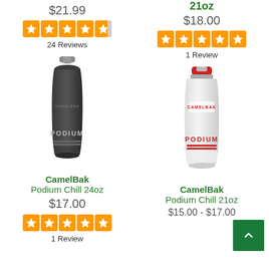$21.99
[Figure (other): 5-star rating widget, orange stars, left product]
24 Reviews
21oz
$18.00
[Figure (other): 5-star rating widget, orange stars, right product]
1 Review
[Figure (photo): CamelBak Podium Chill 24oz insulated water bottle in dark gray/black color]
[Figure (photo): CamelBak Podium Chill 21oz insulated water bottle in white with red cap]
CamelBak
Podium Chill 24oz
$17.00
[Figure (other): 5-star rating widget, orange stars, bottom left product]
1 Review
CamelBak
Podium Chill 21oz
$15.00 - $17.00